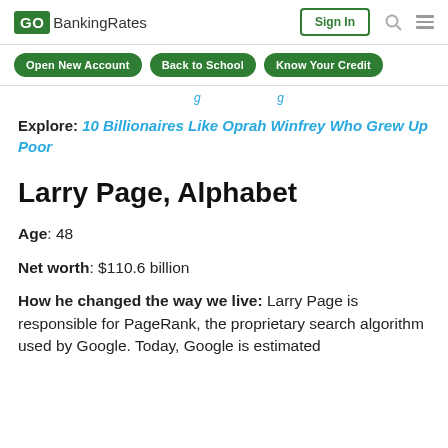GOBankingRates | Sign In
Open New Account | Back to School | Know Your Credit
Explore: 10 Billionaires Like Oprah Winfrey Who Grew Up Poor
Larry Page, Alphabet
Age: 48
Net worth: $110.6 billion
How he changed the way we live: Larry Page is responsible for PageRank, the proprietary search algorithm used by Google. Today, Google is estimated